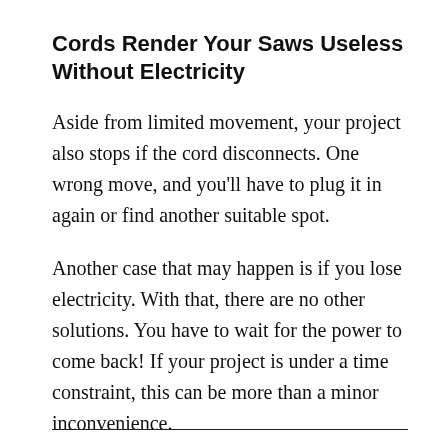Cords Render Your Saws Useless Without Electricity
Aside from limited movement, your project also stops if the cord disconnects. One wrong move, and you’ll have to plug it in again or find another suitable spot.
Another case that may happen is if you lose electricity. With that, there are no other solutions. You have to wait for the power to come back! If your project is under a time constraint, this can be more than a minor inconvenience.